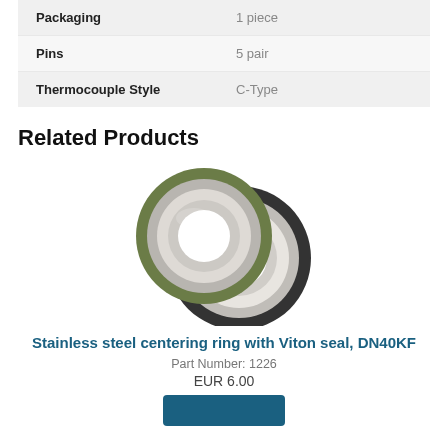| Property | Value |
| --- | --- |
| Packaging | 1 piece |
| Pins | 5 pair |
| Thermocouple Style | C-Type |
Related Products
[Figure (photo): Two centering rings with Viton seals overlapping: one with green seal and silver body, one with black seal and silver body, DN40KF stainless steel centering rings.]
Stainless steel centering ring with Viton seal, DN40KF
Part Number: 1226
EUR 6.00